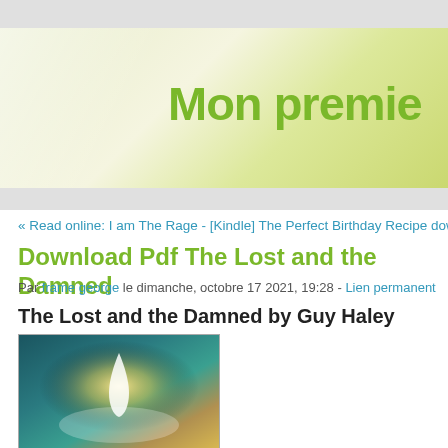Mon premie
« Read online: I am The Rage - [Kindle] The Perfect Birthday Recipe download :
Download Pdf The Lost and the Damned
Par frame george le dimanche, octobre 17 2021, 19:28 - Lien permanent
The Lost and the Damned by Guy Haley
[Figure (photo): Book cover of The Lost and the Damned showing a glowing light shape (teardrop/flame) against a dark teal background]